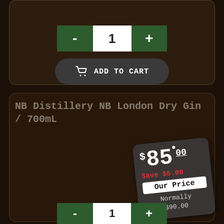[Figure (screenshot): Top product card with quantity selector showing '-', '1', '+' buttons in green/white, and dark rounded 'ADD TO CART' button with cart icon]
NB Distillery NB London Dry Gin / 700mL
[Figure (infographic): Price tag showing $85.00, Save $5.00 in red, Our Price label, Normally $90.00]
[Figure (screenshot): Bottom quantity selector showing '-', '1', '+' buttons]